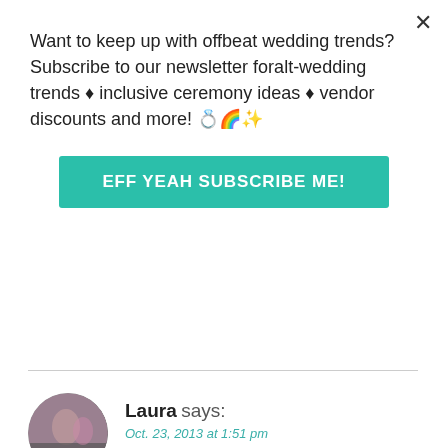Want to keep up with offbeat wedding trends?Subscribe to our newsletter for‎alt-wedding trends • inclusive ceremony ideas • vendor discounts and more! 💍🌈✨
EFF YEAH SUBSCRIBE ME!
Laura says:
Oct. 23, 2013 at 1:51 pm
I didn't have a 'moment' either but I hadn't set myself up for one. I went to Gallery Serpentine after work with my bestie and tried on giant pouffy skirt/corset combos. Because mine was going to be made for me it wasn't a complete matching ensemble I tried on. I liked a different corset style so tried one on in a different colour. What I had to do was imagine what it would all look like when it came together and trust